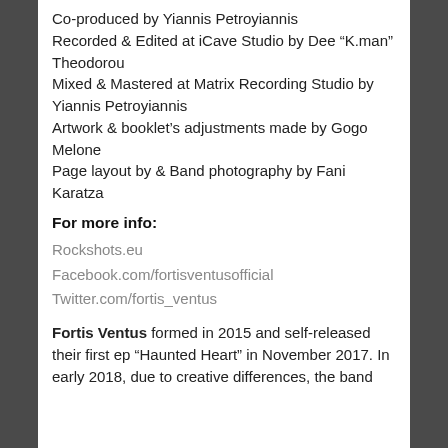Co-produced by Yiannis Petroyiannis
Recorded & Edited at iCave Studio by Dee “K.man” Theodorou
Mixed & Mastered at Matrix Recording Studio by Yiannis Petroyiannis
Artwork & booklet’s adjustments made by Gogo Melone
Page layout by & Band photography by Fani Karatza
For more info:
Rockshots.eu
Facebook.com/fortisventusofficial
Twitter.com/fortis_ventus
Fortis Ventus formed in 2015 and self-released their first ep “Haunted Heart” in November 2017. In early 2018, due to creative differences, the band